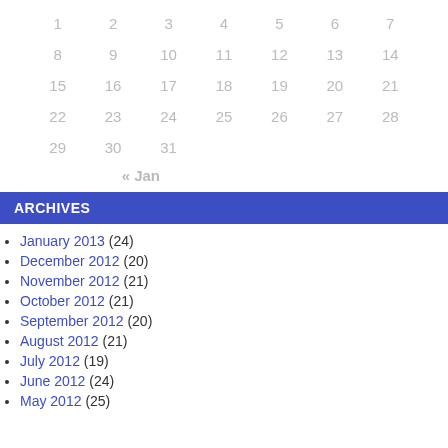| 1 | 2 | 3 | 4 | 5 | 6 | 7 |
| 8 | 9 | 10 | 11 | 12 | 13 | 14 |
| 15 | 16 | 17 | 18 | 19 | 20 | 21 |
| 22 | 23 | 24 | 25 | 26 | 27 | 28 |
| 29 | 30 | 31 |  |  |  |  |
« Jan
ARCHIVES
January 2013 (24)
December 2012 (20)
November 2012 (21)
October 2012 (21)
September 2012 (20)
August 2012 (21)
July 2012 (19)
June 2012 (24)
May 2012 (25)